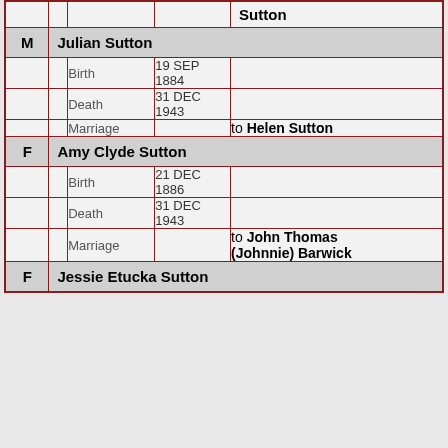|  |  |  | Sutton |
| M | Julian Sutton |  |  |
|  | Birth | 19 SEP 1884 |  |
|  | Death | 31 DEC 1943 |  |
|  | Marriage |  | to Helen Sutton |
| F | Amy Clyde Sutton |  |  |
|  | Birth | 21 DEC 1886 |  |
|  | Death | 31 DEC 1943 |  |
|  | Marriage |  | to John Thomas (Johnnie) Barwick |
| F | Jessie Etucka Sutton |  |  |